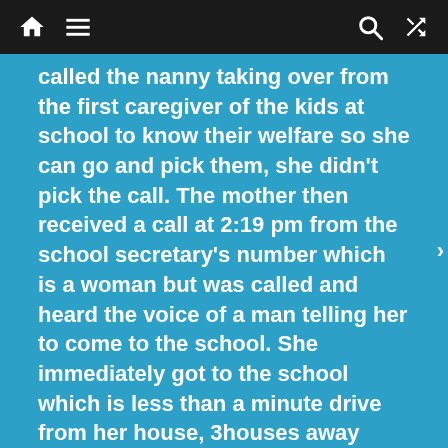Home Menu Search Shuffle
called the nanny taking over from the first caregiver of the kids at school to know their welfare so she can go and pick them, she didn't pick the call. The mother then received a call at 2:19 pm from the school secretary's number which is a woman but was called and heard the voice of a man telling her to come to the school. She immediately got to the school which is less than a minute drive from her house, 3houses away from her house in the estate. When she got there, she saw about 5 women and 2 praying over michelle in the bed and asked what the matter was but nobody was giving her any response.